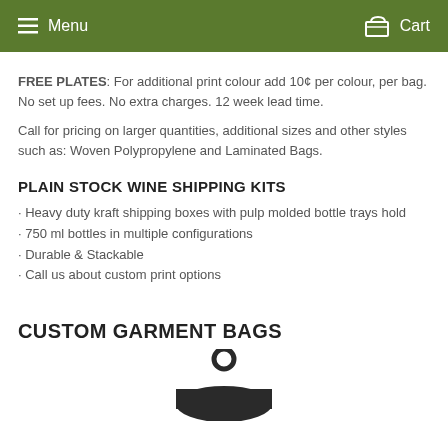Menu  Cart
FREE PLATES: For additional print colour add 10¢ per colour, per bag. No set up fees. No extra charges. 12 week lead time.
Call for pricing on larger quantities, additional sizes and other styles such as: Woven Polypropylene and Laminated Bags.
PLAIN STOCK WINE SHIPPING KITS
· Heavy duty kraft shipping boxes with pulp molded bottle trays hold
· 750 ml bottles in multiple configurations
· Durable & Stackable
· Call us about custom print options
CUSTOM GARMENT BAGS
[Figure (photo): Partial view of a dark/black garment bag with handle visible at top]